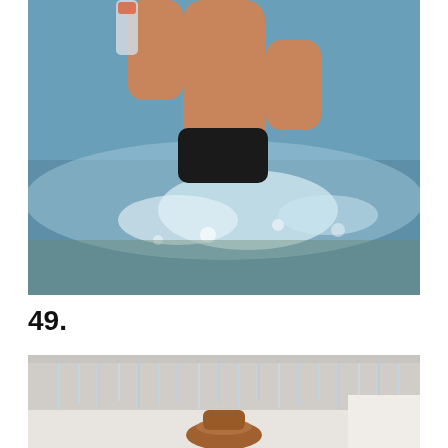[Figure (photo): Person in black bikini standing in ocean waves, holding a bottle, water splashing around them, beach/sea setting]
49.
[Figure (photo): Interior room scene with a large sparkling chandelier hanging from the ceiling, and a person wearing a brown/tan hat visible below, possibly in a hotel or event space]